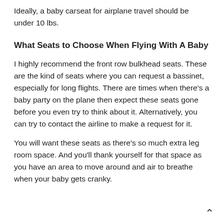Ideally, a baby carseat for airplane travel should be under 10 lbs.
What Seats to Choose When Flying With A Baby
I highly recommend the front row bulkhead seats. These are the kind of seats where you can request a bassinet, especially for long flights. There are times when there’s a baby party on the plane then expect these seats gone before you even try to think about it. Alternatively, you can try to contact the airline to make a request for it.
You will want these seats as there’s so much extra leg room space. And you’ll thank yourself for that space as you have an area to move around and air to breathe when your baby gets cranky.